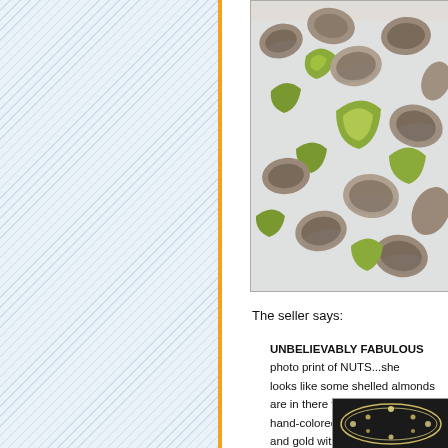[Figure (photo): Photograph of walnuts, both shelled and in shell, with green and yellow-gold hand-colored tones on a white background. Some almonds appear mixed in.]
The seller says:
UNBELIEVABLY FABULOUS photo print of NUTS...she looks like some shelled almonds are in there too, the 'photo hand-colored in tan, sepia, green and gold with grey 'shado
[Figure (photo): Partial view of a second photograph showing what appears to be jewelry or decorative items on a dark background.]